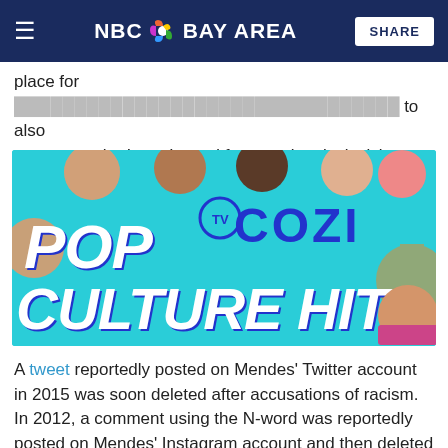NBC Bay Area — SHARE
place for ... represent who I am. I stand for complete inclusivity, equality and love."
[Figure (photo): Pop Cozi TV Culture Hits promotional graphic with colorful characters on a teal background]
A tweet reportedly posted on Mendes' Twitter account in 2015 was soon deleted after accusations of racism. In 2012, a comment using the N-word was reportedly posted on Mendes' Instagram account and then deleted as well.